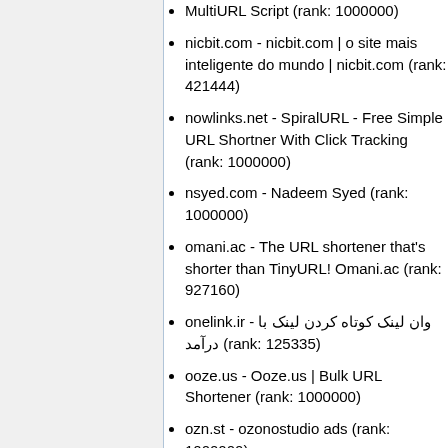MultiURL Script (rank: 1000000)
nicbit.com - nicbit.com | o site mais inteligente do mundo | nicbit.com (rank: 421444)
nowlinks.net - SpiralURL - Free Simple URL Shortner With Click Tracking (rank: 1000000)
nsyed.com - Nadeem Syed (rank: 1000000)
omani.ac - The URL shortener that's shorter than TinyURL! Omani.ac (rank: 927160)
onelink.ir - وان لینک کوتاه کردن لینک با درآمد (rank: 125335)
ooze.us - Ooze.us | Bulk URL Shortener (rank: 1000000)
ozn.st - ozonostudio ads (rank: 1000000)
rlu dot ru - Short URL Service (rank: